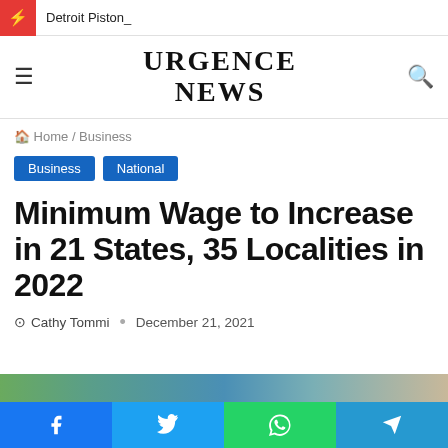Detroit Piston_
URGENCE NEWS
Home / Business
Business
National
Minimum Wage to Increase in 21 States, 35 Localities in 2022
Cathy Tommi · December 21, 2021
[Figure (photo): Partial image strip visible at bottom of article]